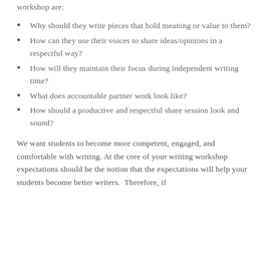workshop are:
Why should they write pieces that hold meaning or value to them?
How can they use their voices to share ideas/opinions in a respectful way?
How will they maintain their focus during independent writing time?
What does accountable partner work look like?
How should a productive and respectful share session look and sound?
We want students to become more competent, engaged, and comfortable with writing. At the core of your writing workshop expectations should be the notion that the expectations will help your students become better writers.  Therefore, if